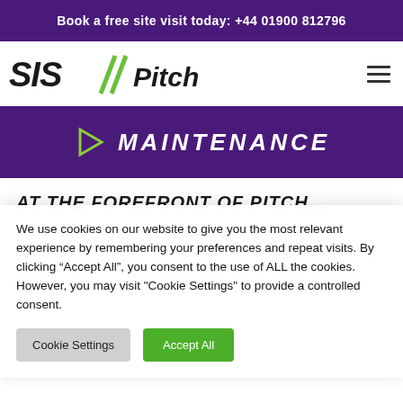Book a free site visit today: +44 01900 812796
[Figure (logo): SIS//Pitches logo with green diagonal slashes and italic text]
MAINTENANCE
AT THE FOREFRONT OF PITCH...
We use cookies on our website to give you the most relevant experience by remembering your preferences and repeat visits. By clicking “Accept All”, you consent to the use of ALL the cookies. However, you may visit "Cookie Settings" to provide a controlled consent.